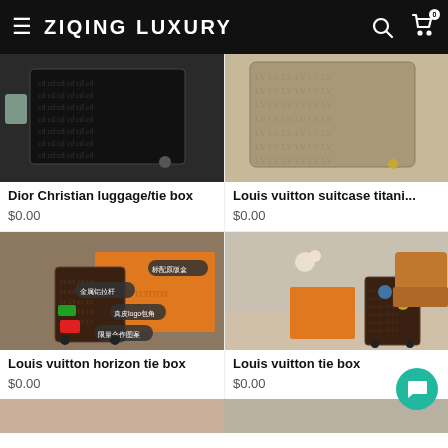ZIQING LUXURY
[Figure (photo): Dior Christian luggage with monogram pattern on black background]
Dior Christian luggage/tie box
$0.00
[Figure (photo): Louis Vuitton titanium suitcase with monogram pattern]
Louis vuitton suitcase titani...
$0.00
[Figure (photo): Louis Vuitton horizon tie box with Chinese text labels and orange LV box]
Louis vuitton horizon tie box
$0.00
[Figure (photo): Louis Vuitton tie box next to chair in room]
Louis vuitton tie box
$0.00